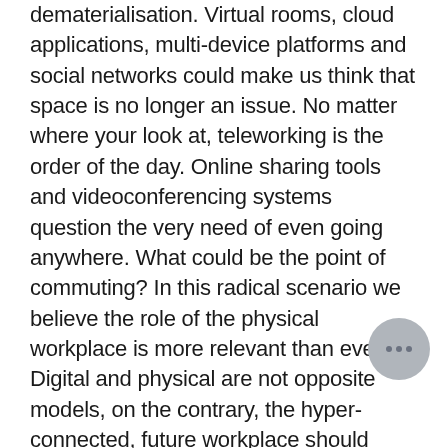dematerialisation. Virtual rooms, cloud applications, multi-device platforms and social networks could make us think that space is no longer an issue. No matter where your look at, teleworking is the order of the day. Online sharing tools and videoconferencing systems question the very need of even going anywhere. What could be the point of commuting? In this radical scenario we believe the role of the physical workplace is more relevant than ever. Digital and physical are not opposite models, on the contrary, the hyper-connected, future workplace should reconcile them under a well-balanced scenario. Our dream job is built upon technology's wonders but has a huge dose of physical, face-to-face interactions. Happening in a place that hosts people – with their whole bodies and embodied feelings–,